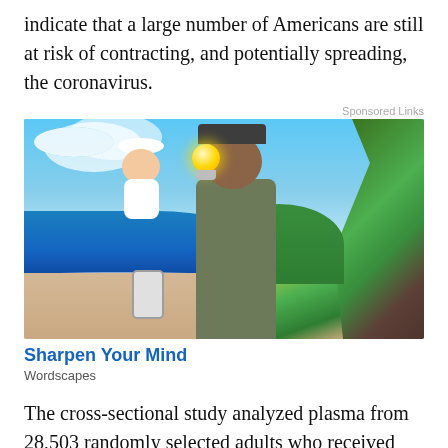indicate that a large number of Americans are still at risk of contracting, and potentially spreading, the coronavirus.
[Figure (photo): Advertisement photo showing a young man on a beach holding a phone, with an Einstein cartoon mascot and a glowing light bulb above them, palm trees in background]
Sharpen Your Mind
Wordscapes
The cross-sectional study analyzed plasma from 28,503 randomly selected adults who received dialysis in July.